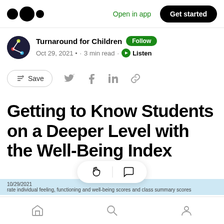Open in app | Get started
Turnaround for Children · Follow
Oct 29, 2021 · 3 min read · Listen
Save (social share icons)
Getting to Know Students on a Deeper Level with the Well-Being Index
Home | Search | Profile (bottom nav)